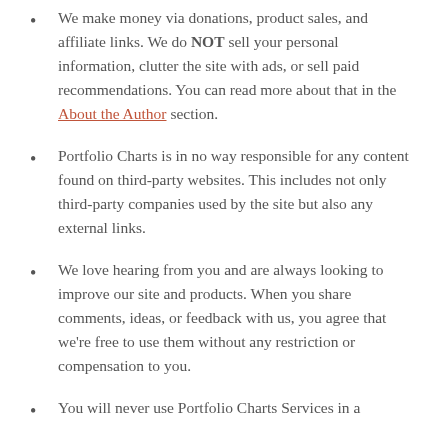We make money via donations, product sales, and affiliate links. We do NOT sell your personal information, clutter the site with ads, or sell paid recommendations. You can read more about that in the About the Author section.
Portfolio Charts is in no way responsible for any content found on third-party websites. This includes not only third-party companies used by the site but also any external links.
We love hearing from you and are always looking to improve our site and products. When you share comments, ideas, or feedback with us, you agree that we’re free to use them without any restriction or compensation to you.
You will never use Portfolio Charts Services in a